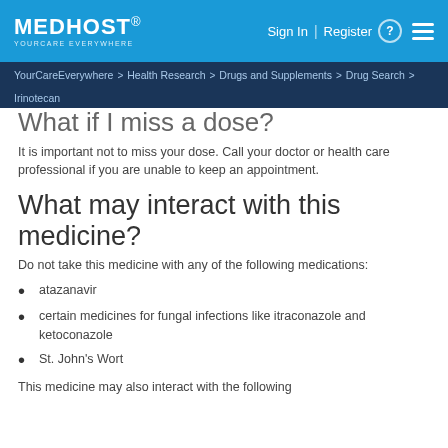MEDHOST YOURCARE EVERYWHERE — Sign In | Register — menu
YourCareEverywhere > Health Research > Drugs and Supplements > Drug Search > Irinotecan
What if I miss a dose?
It is important not to miss your dose. Call your doctor or health care professional if you are unable to keep an appointment.
What may interact with this medicine?
Do not take this medicine with any of the following medications:
atazanavir
certain medicines for fungal infections like itraconazole and ketoconazole
St. John's Wort
This medicine may also interact with the following